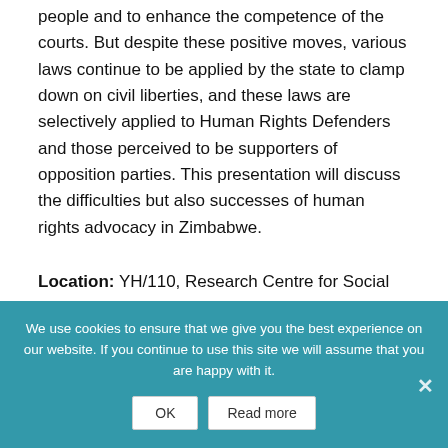people and to enhance the competence of the courts. But despite these positive moves, various laws continue to be applied by the state to clamp down on civil liberties, and these laws are selectively applied to Human Rights Defenders and those perceived to be supporters of opposition parties. This presentation will discuss the difficulties but also successes of human rights advocacy in Zimbabwe.
Location: YH/110, Research Centre for Social Sciences
Admission: Free
We use cookies to ensure that we give you the best experience on our website. If you continue to use this site we will assume that you are happy with it.